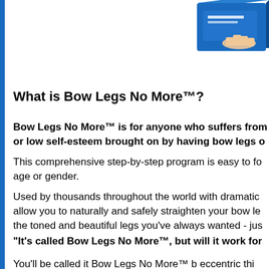[Figure (illustration): Blue product box with a hand pointing at it, shown in the top-right corner of the page]
What is Bow Legs No More™?
Bow Legs No More™ is for anyone who suffers from or low self-esteem brought on by having bow legs o
This comprehensive step-by-step program is easy to fo age or gender.
Used by thousands throughout the world with dramatic allow you to naturally and safely straighten your bow le the toned and beautiful legs you've always wanted - jus
“It's called Bow Legs No More™, but will it work for
You'll be called it Bow Legs No More™ b eccentric thi